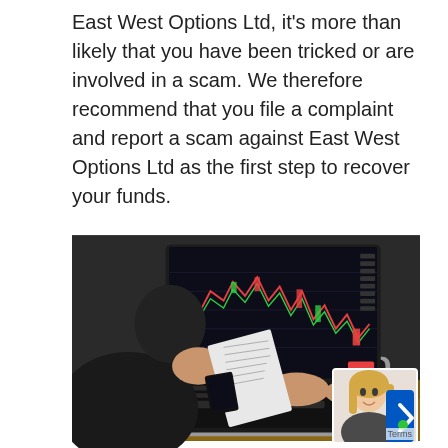East West Options Ltd, it's more than likely that you have been tricked or are involved in a scam. We therefore recommend that you file a complaint and report a scam against East West Options Ltd as the first step to recover your funds.
[Figure (photo): A person typing on a laptop showing financial trading charts on screen, with printed charts beside them on a desk. A small avatar/chat widget with a blonde woman's photo appears in the bottom-right corner.]